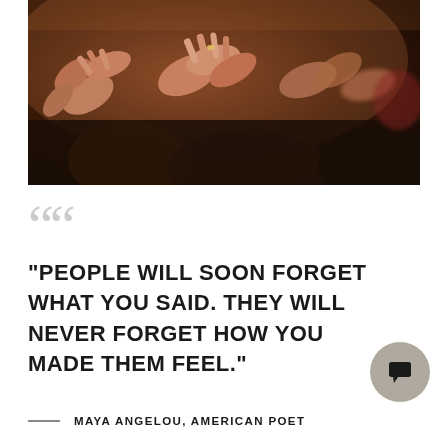[Figure (photo): Crowd of people clapping/applauding with hands raised, warm brown tones, theatrical setting, bokeh blur in background]
““
"PEOPLE WILL SOON FORGET WHAT YOU SAID. THEY WILL NEVER FORGET HOW YOU MADE THEM FEEL."
— MAYA ANGELOU, AMERICAN POET